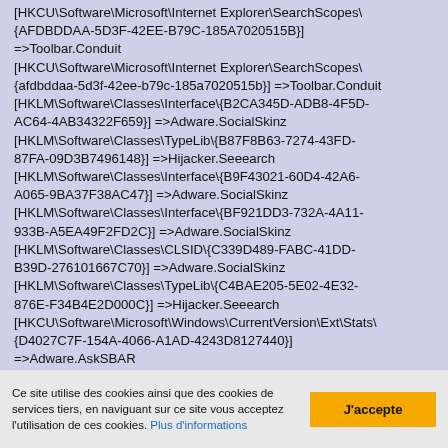[HKCU\Software\Microsoft\Internet Explorer\SearchScopes\{AFDBDDAA-5D3F-42EE-B79C-185A7020515B}] =>Toolbar.Conduit [HKCU\Software\Microsoft\Internet Explorer\SearchScopes\{afdbddaa-5d3f-42ee-b79c-185a7020515b}] =>Toolbar.Conduit [HKLM\Software\Classes\Interface\{B2CA345D-ADB8-4F5D-AC64-4AB34322F659}] =>Adware.SocialSkinz [HKLM\Software\Classes\TypeLib\{B87F8B63-7274-43FD-87FA-09D3B7496148}] =>Hijacker.Seeearch [HKLM\Software\Classes\Interface\{B9F43021-60D4-42A6-A065-9BA37F38AC47}] =>Adware.SocialSkinz [HKLM\Software\Classes\Interface\{BF921DD3-732A-4A11-933B-A5EA49F2FD2C}] =>Adware.SocialSkinz [HKLM\Software\Classes\CLSID\{C339D489-FABC-41DD-B39D-276101667C70}] =>Adware.SocialSkinz [HKLM\Software\Classes\TypeLib\{C4BAE205-5E02-4E32-876E-F34B4E2D000C}] =>Hijacker.Seeearch [HKCU\Software\Microsoft\Windows\CurrentVersion\Ext\Stats\{D4027C7F-154A-4066-A1AD-4243D8127440}] =>Adware.AskSBAR
Ce site utilise des cookies ainsi que des cookies de services tiers, en naviguant sur ce site vous acceptez l'utilisation de ces cookies. Plus d'informations